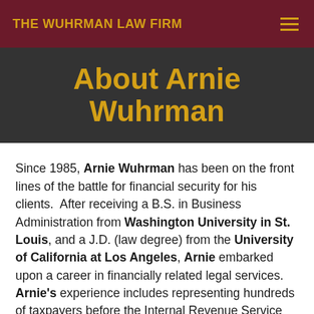THE WUHRMAN LAW FIRM
About Arnie Wuhrman
Since 1985, Arnie Wuhrman has been on the front lines of the battle for financial security for his clients. After receiving a B.S. in Business Administration from Washington University in St. Louis, and a J.D. (law degree) from the University of California at Los Angeles, Arnie embarked upon a career in financially related legal services. Arnie's experience includes representing hundreds of taxpayers before the Internal Revenue Service and various state taxing agencies, as well as conducting dozens of lawsuits in numerous courts around the country, and